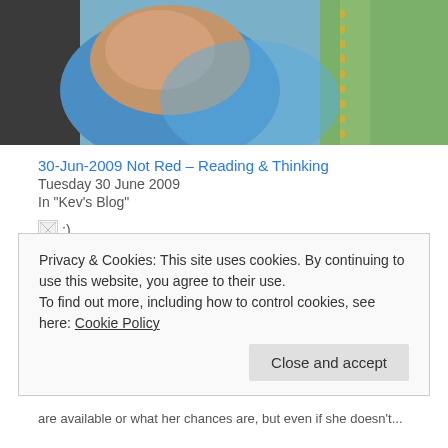[Figure (photo): Person wearing a blue tank top and green garment, partial torso shot, outdoors near a vehicle]
30-Jun-2009 Not Red – Reading & Thinking
Tuesday 30 June 2009
In "Kev's Blog"
[Figure (photo): Broken image placeholder with smiley ;)]
27-Jun-2008 Raw-ish
Friday 27 June 2008
Privacy & Cookies: This site uses cookies. By continuing to use this website, you agree to their use.
To find out more, including how to control cookies, see here: Cookie Policy
Close and accept
are available or what her chances are, but even if she doesn't...